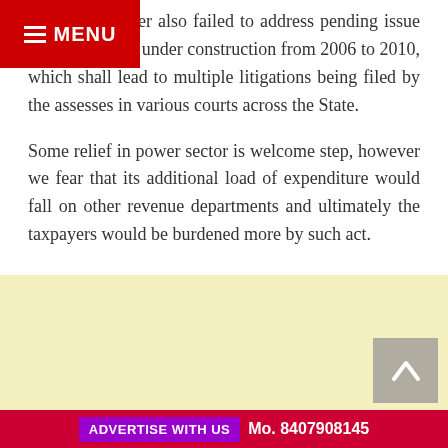MENU
Finance Minister also failed to address pending issue of on buildings under construction from 2006 to 2010, which shall lead to multiple litigations being filed by the assesses in various courts across the State.

Some relief in power sector is welcome step, however we fear that its additional load of expenditure would fall on other revenue departments and ultimately the taxpayers would be burdened more by such act.
[Figure (other): Yellow advertisement placeholder area]
ADVERTISE WITH US   Mo. 8407908145